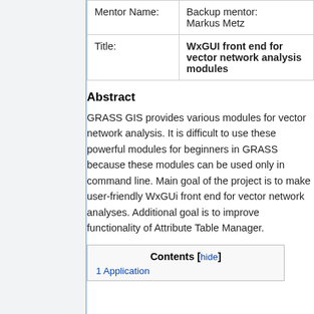| Field | Value |
| --- | --- |
| Mentor Name: | Backup mentor:
Markus Metz |
| Title: | WxGUI front end for vector network analysis modules |
Abstract
GRASS GIS provides various modules for vector network analysis. It is difficult to use these powerful modules for beginners in GRASS because these modules can be used only in command line. Main goal of the project is to make user-friendly WxGUi front end for vector network analyses. Additional goal is to improve functionality of Attribute Table Manager.
| Contents [hide] |
| 1 Application |